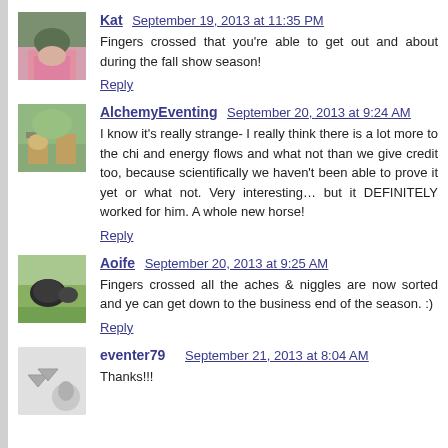Kat September 19, 2013 at 11:35 PM
Fingers crossed that you're able to get out and about during the fall show season!
Reply
AlchemyEventing September 20, 2013 at 9:24 AM
I know it's really strange- I really think there is a lot more to the chi and energy flows and what not than we give credit too, because scientifically we haven't been able to prove it yet or what not. Very interesting… but it DEFINITELY worked for him. A whole new horse!
Reply
Aoife September 20, 2013 at 9:25 AM
Fingers crossed all the aches & niggles are now sorted and ye can get down to the business end of the season. :)
Reply
eventer79 September 21, 2013 at 8:04 AM
Thanks!!!